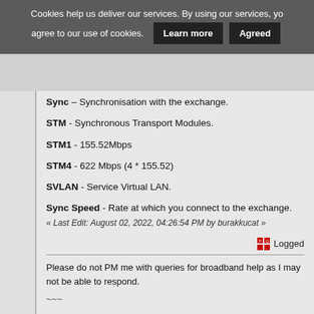Cookies help us deliver our services. By using our services, you agree to our use of cookies.
Learn more | Agreed
Sync – Synchronisation with the exchange.
STM - Synchronous Transport Modules.
STM1 - 155.52Mbps
STM4 - 622 Mbps (4 * 155.52)
SVLAN - Service Virtual LAN.
Sync Speed - Rate at which you connect to the exchange.
« Last Edit: August 02, 2022, 04:26:54 PM by burakkucat »
Logged
Please do not PM me with queries for broadband help as I may not be able to respond.
~~~